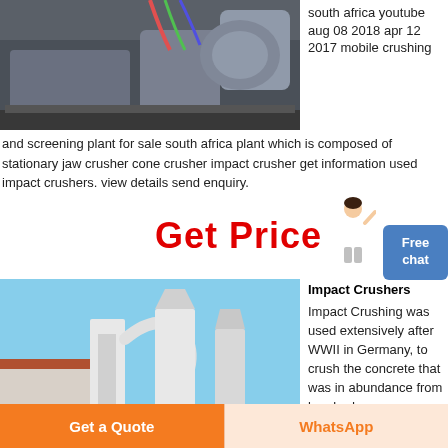[Figure (photo): Industrial machinery/crusher equipment on ground, dark metallic components with electrical wiring]
south africa youtube aug 08 2018 apr 12 2017 mobile crushing and screening plant for sale south africa plant which is composed of stationary jaw crusher cone crusher impact crusher get information used impact crushers. view details send enquiry.
Get Price
[Figure (illustration): Person in white outfit gesturing, chat assistant figure]
Free chat
[Figure (photo): Large white industrial crushing/milling plant equipment outdoors with blue sky and building in background]
Impact Crushers
Impact Crushing was used extensively after WWII in Germany, to crush the concrete that was in abundance from bombed
Get a Quote
WhatsApp